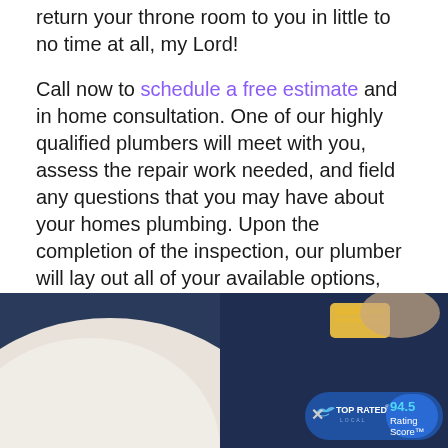return your throne room to you in little to no time at all, my Lord!
Call now to schedule a free estimate and in home consultation. One of our highly qualified plumbers will meet with you, assess the repair work needed, and field any questions that you may have about your homes plumbing. Upon the completion of the inspection, our plumber will lay out all of your available options, including the replacement of your toilet, and come to a scope of work that best fits all of your needs while addressing your toilet situation.
[Figure (photo): Bottom portion of page showing a toilet and plumbing tools on a dark background, with a Top Rated Local badge overlay showing 94.5 Rating Score]